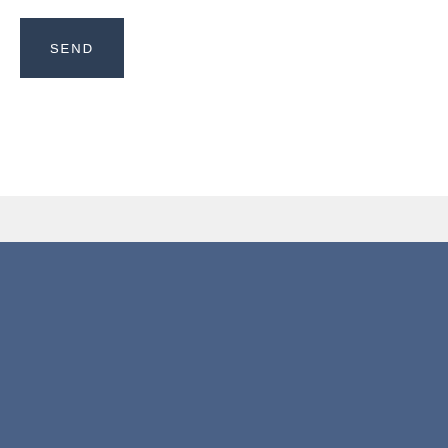SEND
Crystal Halley
RE/MAX Classic | 26870 Beck Rd | Novi, MI 48374
Phone Numbers | Direct: 248-568-0038 | Office: 248-348